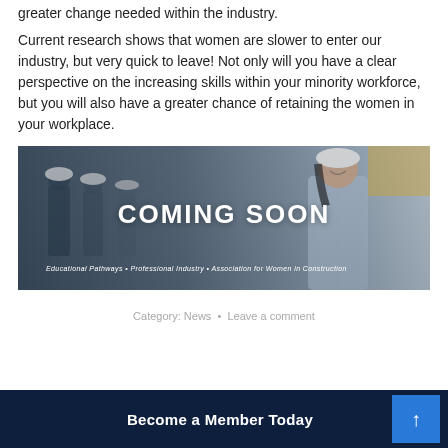greater change needed within the industry.
Current research shows that women are slower to enter our industry, but very quick to leave! Not only will you have a clear perspective on the increasing skills within your minority workforce, but you will also have a greater chance of retaining the women in your workplace.
[Figure (photo): Banner image with construction workers wearing white hard hats in the background, a smiling woman in foreground wearing a hard hat and blue shirt. Text overlay reads 'COMING SOON' and subtitle 'Educational Pathways • Professional Industry • Association for Women in Construction']
Category: News • Leave a comment
Become a Member Today